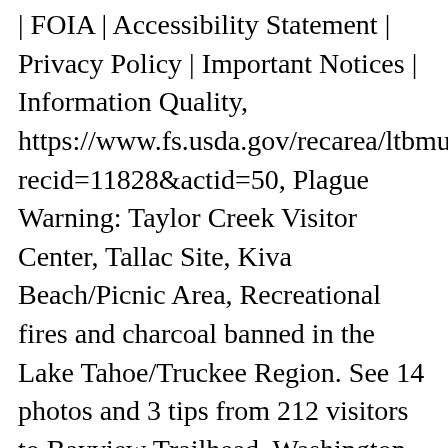| FOIA | Accessibility Statement | Privacy Policy | Important Notices | Information Quality, https://www.fs.usda.gov/recarea/ltbmu/specialpla recid=11828&actid=50, Plague Warning: Taylor Creek Visitor Center, Tallac Site, Kiva Beach/Picnic Area, Recreational fires and charcoal banned in the Lake Tahoe/Truckee Region. See 14 photos and 3 tips from 212 visitors to Bayview Trailhead. Washington State Parks. Browse Servers Bedrock Servers Collections Time Machine . View a map of this area and more on Natural Atlas. 5. DIFFICULT 3.9 mi. Choose Hotels near Bayview Trailhead based on your preferences like cheap, budget, luxury or based on the type of hotels like 3 star, 4 star or 5 star. Take Highway 50 to Echo